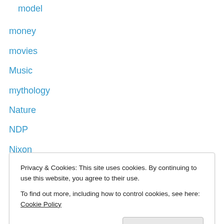model
money
movies
Music
mythology
Nature
NDP
Nixon
Obama
Obamacare
Occult
occupation
Occupy
Privacy & Cookies: This site uses cookies. By continuing to use this website, you agree to their use. To find out more, including how to control cookies, see here: Cookie Policy
peace